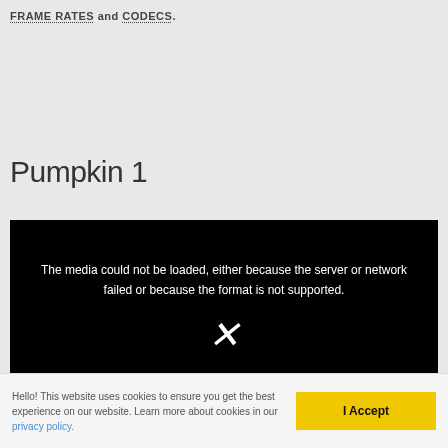FRAME RATES and CODECS.
Pumpkin 1
[Figure (screenshot): Video player showing error message: 'The media could not be loaded, either because the server or network failed or because the format is not supported.' with an X icon below the text on a black background.]
Hello! This website uses cookies to ensure you get the best experience on our website. Learn more about cookies in our privacy policy.